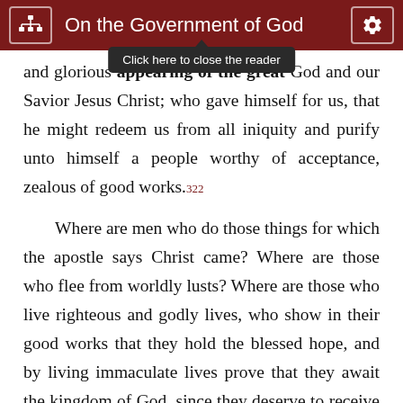On the Government of God
[Figure (screenshot): Tooltip overlay reading 'Click here to close the reader' with dark background, appearing below header bar]
and glorious appearing of the great God and our Savior Jesus Christ; who gave himself for us, that he might redeem us from all iniquity and purify unto himself a people worthy of acceptance, zealous of good works.322
Where are men who do those things for which the apostle says Christ came? Where are those who flee from worldly lusts? Where are those who live righteous and godly lives, who show in their good works that they hold the blessed hope, and by living immaculate lives prove that they await the kingdom of God, since they deserve to receive it? “The Lord